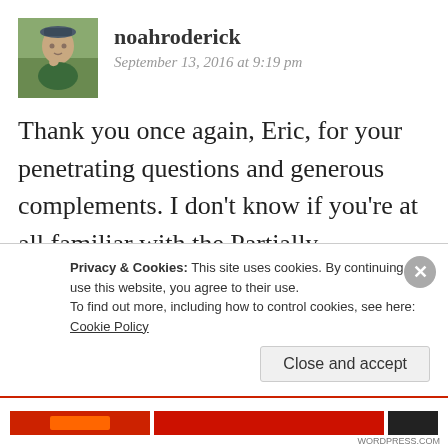[Figure (photo): Avatar photo of user noahroderick — person wearing cap, outdoors]
noahroderick
September 13, 2016 at 9:19 pm
Thank you once again, Eric, for your penetrating questions and generous complements. I don't know if you're at all familiar with the Partially Examined Life podcast, but I've been a listener for years now. At the beginning of most episodes, the hosts lay out a set of rules which they try not to violate in their discussion
Privacy & Cookies: This site uses cookies. By continuing to use this website, you agree to their use.
To find out more, including how to control cookies, see here: Cookie Policy
Close and accept